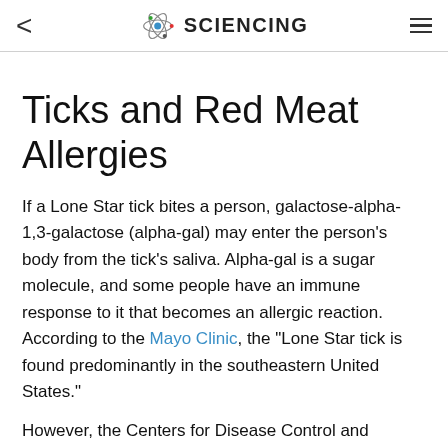< SCIENCING ≡
Ticks and Red Meat Allergies
If a Lone Star tick bites a person, galactose-alpha-1,3-galactose (alpha-gal) may enter the person's body from the tick's saliva. Alpha-gal is a sugar molecule, and some people have an immune response to it that becomes an allergic reaction. According to the Mayo Clinic, the "Lone Star tick is found predominantly in the southeastern United States."
However, the Centers for Disease Control and